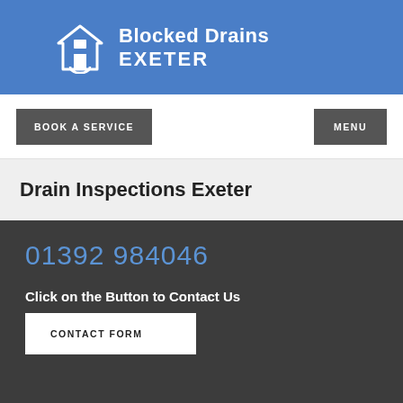Blocked Drains EXETER
BOOK A SERVICE
MENU
Drain Inspections Exeter
01392 984046
Click on the Button to Contact Us
CONTACT FORM